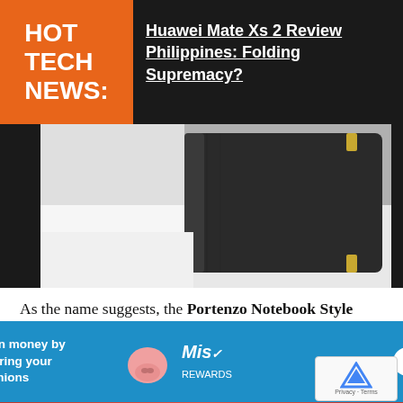HOT TECH NEWS:
Huawei Mate Xs 2 Review Philippines: Folding Supremacy?
[Figure (photo): Close-up photo of a dark leather/fabric notebook-style iPad case on a white surface, showing the spine and corner details]
As the name suggests, the Portenzo Notebook Style iPad 2 Case closely resembles the leather black notebooks being sold in National Bookstore and Fully Booked. If you get the version with the elastic band it will look like a Moleskine notebook. With all the mugg... d to not c...
[Figure (infographic): Advertisement banner: Earn money by sharing your opinions - Mis Rewards SIGN UP]
[Figure (photo): Bottom strip of a photo with red background]